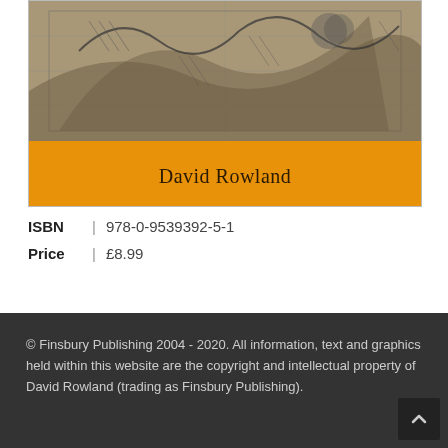[Figure (illustration): Book cover with orange background showing 'David Rowland' as author text and a sketched illustration at the top]
ISBN | 978-0-9539392-5-1
Price | £8.99
© Finsbury Publishing 2004 - 2020. All information, text and graphics held within this website are the copyright and intellectual property of David Rowland (trading as Finsbury Publishing).